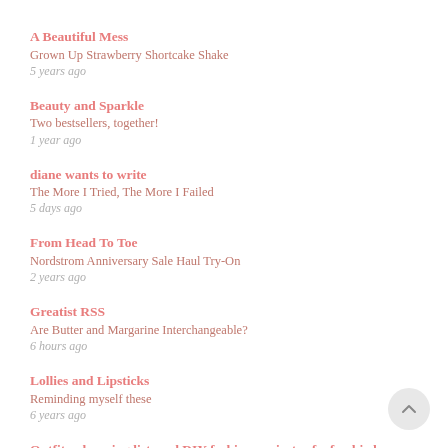A Beautiful Mess
Grown Up Strawberry Shortcake Shake
5 years ago
Beauty and Sparkle
Two bestsellers, together!
1 year ago
diane wants to write
The More I Tried, The More I Failed
5 days ago
From Head To Toe
Nordstrom Anniversary Sale Haul Try-On
2 years ago
Greatist RSS
Are Butter and Margarine Interchangeable?
6 hours ago
Lollies and Lipsticks
Reminding myself these
6 years ago
Outfits, shopping list, and DIY fashion projects of a freebird- What Annie Wears
[Action required] Your RSS.app Trial has Expired.
3 hours ago